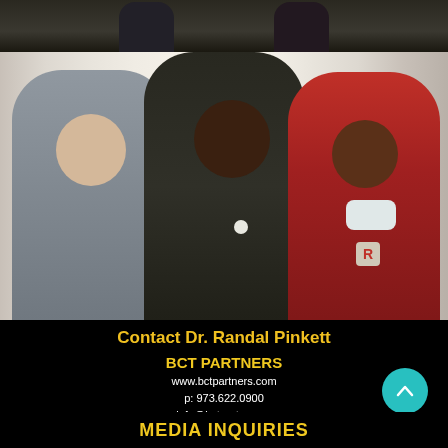[Figure (photo): Top portion of a group photo showing people from waist down in formal attire]
[Figure (photo): Three men posing together smiling: a white man in gray suit on left, a tall Black man in dark suit with boutonniere in center, and a shorter Black man in red Rutgers vest on right, taken at an indoor event with curtain backdrop]
Contact Dr. Randal Pinkett
BCT PARTNERS
www.bctpartners.com
p: 973.622.0900
e: info@bctpartners.com
www.bctpartners.com
MEDIA INQUIRIES